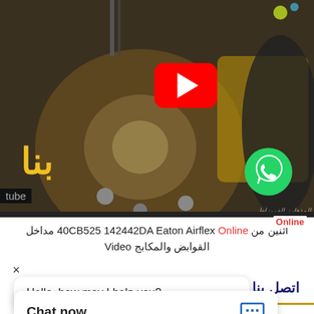[Figure (screenshot): Video thumbnail of mechanical brake drum assembly with bolts and springs, showing a YouTube play button overlay in the center, Arabic text logo in yellow bottom-left, WhatsApp icon bottom-right, and 'tube' label overlaid. Watermark text visible at bottom right.]
اثنين من 40CB525 142442DA Eaton Airflex Online مداخل القوابض والمكابج Video
×
Hello, how may I help you?
اتصل بنا
Chat now